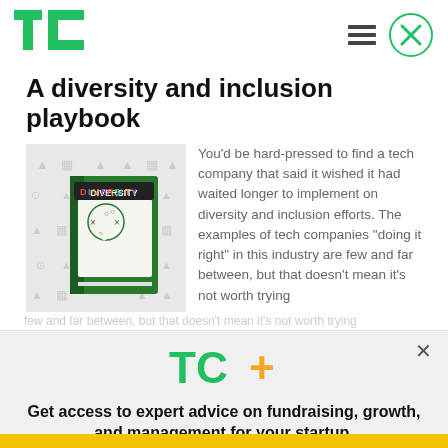TechCrunch logo, hamburger menu, close button
A diversity and inclusion playbook
[Figure (illustration): Book cover illustration with 'DIVERSITY' text in colorful letters on a chalkboard-style book with X's and O's play diagram, surrounded by faint business/chart icons on a light background]
You'd be hard-pressed to find a tech company that said it wished it had waited longer to implement on diversity and inclusion efforts. The examples of tech companies “doing it right” in this industry are few and far between, but that doesn't mean it's not worth trying
[Figure (logo): TC+ logo in green with a yellow/orange plus sign]
Get access to expert advice on fundraising, growth, and management for your startup.
EXPLORE NOW